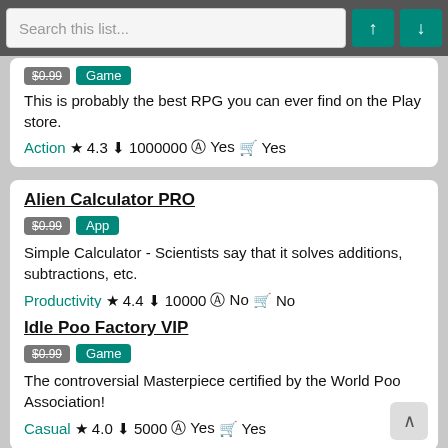Search this list...
This is probably the best RPG you can ever find on the Play store. Action ★ 4.3 ⬇ 1000000 ⓐ Yes 🛒 Yes
Alien Calculator PRO | $0.99 App | Simple Calculator - Scientists say that it solves additions, subtractions, etc. | Productivity ★ 4.4 ⬇ 10000 ⓐ No 🛒 No
Idle Poo Factory VIP | $0.99 Game | The controversial Masterpiece certified by the World Poo Association! | Casual ★ 4.0 ⬇ 5000 ⓐ Yes 🛒 Yes